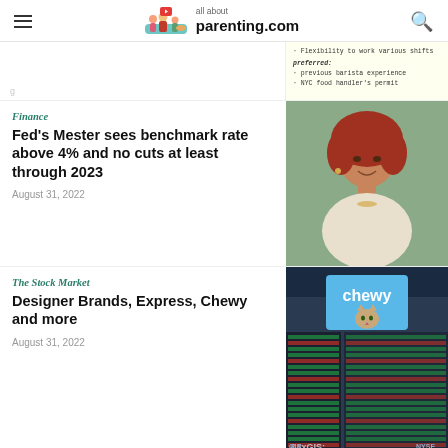all about parenting.com
[Figure (photo): Partial view of a handwritten note with text about flexibility to work various shifts, preferred qualifications including previous barista experience and NYC food handlers permit]
Finance
Fed's Mester sees benchmark rate above 4% and no cuts at least through 2023
August 31, 2022
[Figure (photo): Portrait photo of a woman with red curly hair wearing a white knit sweater and gold necklace, smiling]
The Stock Market
Designer Brands, Express, Chewy and more
August 31, 2022
[Figure (photo): NYSE stock exchange floor with Chewy brand signage showing a cat, ticker boards visible in background]